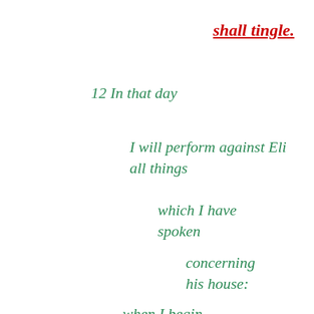shall tingle.
12 In that day
I will perform against Eli all things
which I have spoken
concerning his house:
when I begin,
I will also make an end.